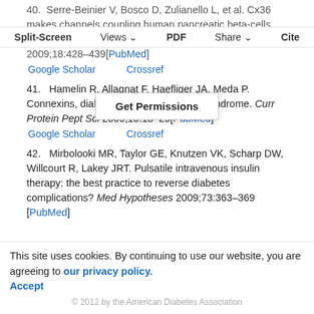40. Serre-Beinier V, Bosco D, Zulianello L, et al. Cx36 makes channels coupling human pancreatic beta-cells, and correlates with insulin expression. Hum Mol Genet 2009;18:428–439[PubMed]
Google Scholar   Crossref
41. Hamelin R, Allagnat F, Haefliger JA, Meda P. Connexins, diabetes and the metabolic syndrome. Curr Protein Pept Sci 2009;10:18–29[PubMed]
Google Scholar   Crossref
42. Mirbolooki MR, Taylor GE, Knutzen VK, Scharp DW, Willcourt R, Lakey JRT. Pulsatile intravenous insulin therapy: the best practice to reverse diabetes complications? Med Hypotheses 2009;73:363–369 [PubMed]
This site uses cookies. By continuing to use our website, you are agreeing to our privacy policy.
Accept
© 2012 by the American Diabetes Association